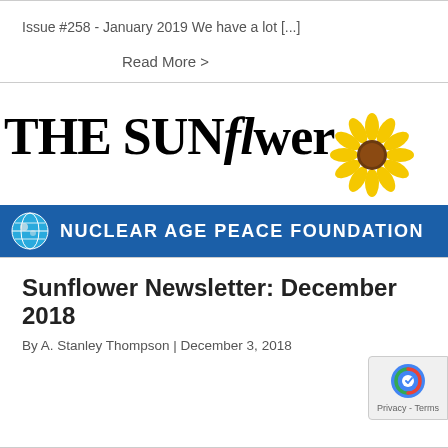Issue #258 - January 2019 We have a lot [...]
Read More >
[Figure (logo): The Sunflower Newsletter logo with sunflower image and Nuclear Age Peace Foundation blue banner with globe icon]
Sunflower Newsletter: December 2018
By A. Stanley Thompson | December 3, 2018